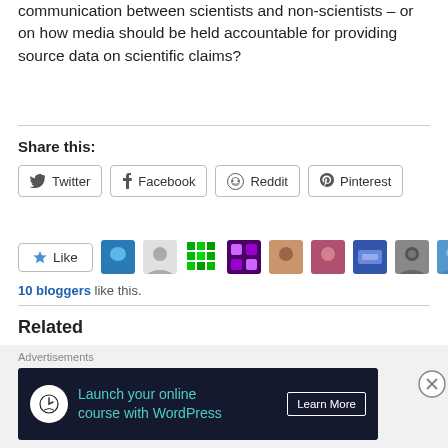What do you think should be done to open lines of communication between scientists and non-scientists – or on how media should be held accountable for providing source data on scientific claims?
Share this:
[Figure (screenshot): Social share buttons: Twitter, Facebook, Reddit, Pinterest]
[Figure (screenshot): Like button with star icon, followed by blogger avatar icons]
10 bloggers like this.
Related
The Utility and Futility of Debate
[Figure (screenshot): Advertisement banner: Launch your online course with WordPress – Learn More]